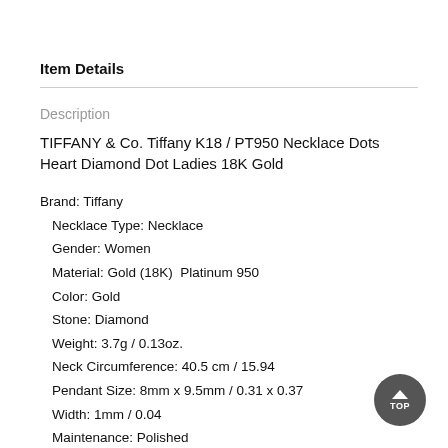Item Details
Description
TIFFANY & Co. Tiffany K18 / PT950 Necklace Dots Heart Diamond Dot Ladies 18K Gold
Brand: Tiffany
Necklace Type: Necklace
Gender: Women
Material: Gold (18K)  Platinum 950
Color: Gold
Stone: Diamond
Weight: 3.7g / 0.13oz.
Neck Circumference: 40.5 cm / 15.94
Pendant Size: 8mm x 9.5mm / 0.31 x 0.37
Width: 1mm / 0.04
Maintenance: Polished